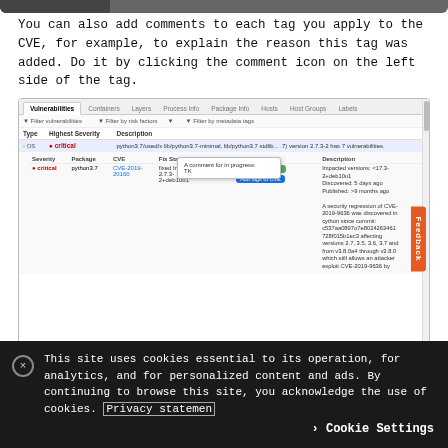[Figure (screenshot): Cropped top of a web UI showing a dark navigation bar.]
You can also add comments to each tag you apply to the CVE, for example, to explain the reason this tag was added. Do it by clicking the comment icon on the left side of the tag.
[Figure (screenshot): Screenshot of a vulnerability management UI showing a table with columns: Type, Highest Severity, Description. A row is highlighted for OS critical python3.7. A tooltip shows 'A comment for in progress: TK'. Below is a detail row with Severity, Package (python3.7), CVE (CVE-2019-20160), Fix Status (fixed In 2.7.3-2+deb10u1), Risk, and a green 'in progress' tag with an 'Add tags to CVE' button. Description column shows 'Impacted versions: <17.3-2+deb10u1...' and a long security regression text. A Feedback tab is visible on the right side.]
By default, all vulnerabilities, according to your policy, are listed. However, you can also examine vulnerabilities only
This site uses cookies essential to its operation, for analytics, and for personalized content and ads. By continuing to browse this site, you acknowledge the use of cookies. Privacy statemen
Cookie Settings